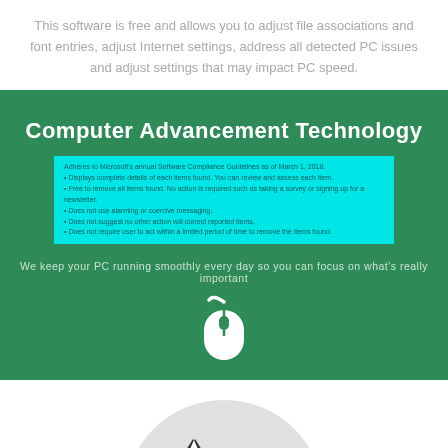This software is free and allows you to adjust file associations and font entries, adjust Internet settings, address all detected PC issues and adjust settings that may impact PC speed.
Computer Advancement Technology
Adheres to Microsoft's annual Software Compliance Guidelines as of March 1, 2018. Displays complete details of each items found. You can review and assess each item. Free to remove all items found. No action is required such as taking a survey or signing up for a newsletter. Does not use alarming or coercive messaging. Does not suggest no other action will correct reported items. Does not require user to act within a limited period of time to remove the items found.
We keep your PC running smoothly every day so you can focus on what's really important
[Figure (illustration): White mouse icon on green background]
[Figure (illustration): Mountain logo in a grey circle — green mountains with dark outlines and snow caps, on white background]